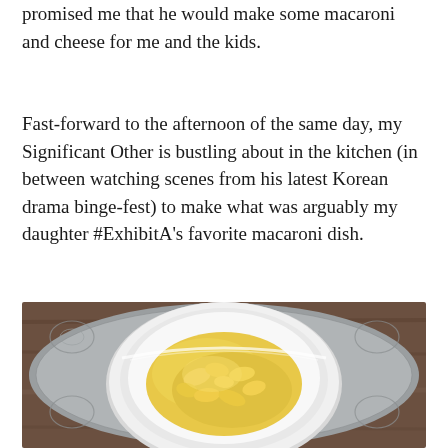promised me that he would make some macaroni and cheese for me and the kids.
Fast-forward to the afternoon of the same day, my Significant Other is bustling about in the kitchen (in between watching scenes from his latest Korean drama binge-fest) to make what was arguably my daughter #ExhibitA's favorite macaroni dish.
[Figure (photo): Overhead photo of a white bowl filled with creamy yellow macaroni and cheese, placed on a decorative grey/silver patterned placemat on a wooden surface.]